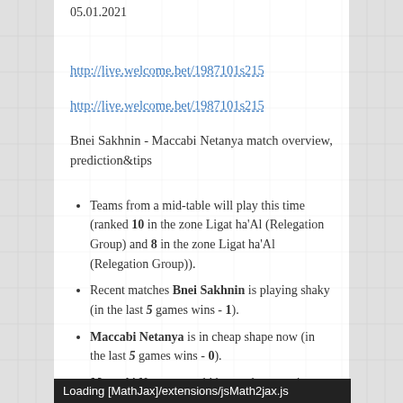05.01.2021
http://live.welcome.bet/1987101s215
http://live.welcome.bet/1987101s215
Bnei Sakhnin - Maccabi Netanya match overview, prediction&tips
Teams from a mid-table will play this time (ranked 10 in the zone Ligat ha'Al (Relegation Group) and 8 in the zone Ligat ha'Al (Relegation Group)).
Recent matches Bnei Sakhnin is playing shaky (in the last 5 games wins - 1).
Maccabi Netanya is in cheap shape now (in the last 5 games wins - 0).
Maccabi Netanya could have advantage in physics -
Loading [MathJax]/extensions/jsMath2jax.js